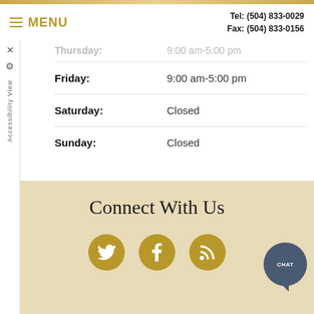MENU | Tel: (504) 833-0029 Fax: (504) 833-0156
| Day | Hours |
| --- | --- |
| Thursday: | 9:00 am-5:00 pm |
| Friday: | 9:00 am-5:00 pm |
| Saturday: | Closed |
| Sunday: | Closed |
Connect With Us
[Figure (illustration): Three gold circular social media icons: Twitter bird, Facebook f, RSS feed symbol. Plus a dark blue-gray chat bubble button labeled CHAT in bottom right.]